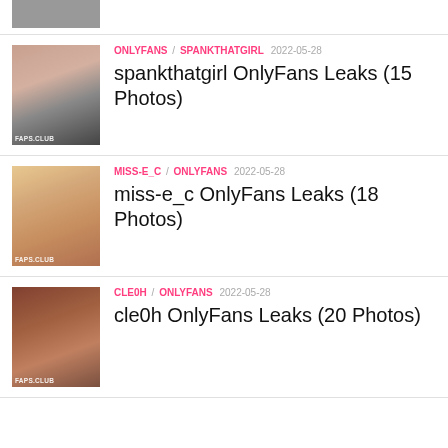[Figure (photo): Partial thumbnail image at top of page, cropped]
ONLYFANS / SPANKTHATGIRL 2022-05-28
spankthatgirl OnlyFans Leaks (15 Photos)
MISS-E_C / ONLYFANS 2022-05-28
miss-e_c OnlyFans Leaks (18 Photos)
CLE0H / ONLYFANS 2022-05-28
cle0h OnlyFans Leaks (20 Photos)